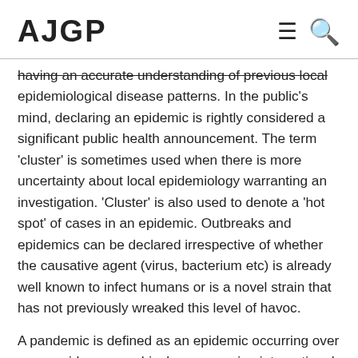AJGP
having an accurate understanding of previous local epidemiological disease patterns. In the public's mind, declaring an epidemic is rightly considered a significant public health announcement. The term 'cluster' is sometimes used when there is more uncertainty about local epidemiology warranting an investigation. 'Cluster' is also used to denote a 'hot spot' of cases in an epidemic. Outbreaks and epidemics can be declared irrespective of whether the causative agent (virus, bacterium etc) is already well known to infect humans or is a novel strain that has not previously wreaked this level of havoc.
A pandemic is defined as an epidemic occurring over a very wide geographical area crossing international